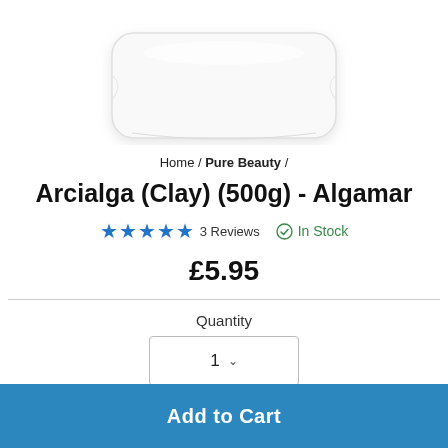[Figure (photo): Product image of a white pillow/bag against white background, cropped at top]
Home / Pure Beauty /
Arcialga (Clay) (500g) - Algamar
★★★★★ 3 Reviews   ✓ In Stock
£5.95
Quantity
1
Add to Cart